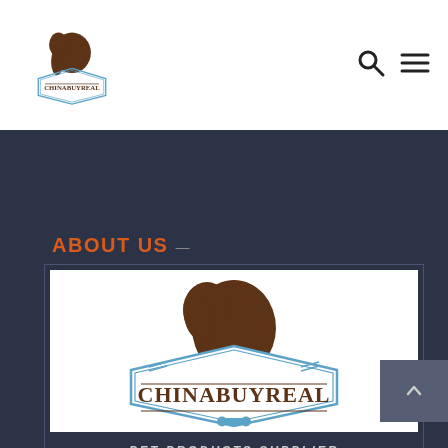[Figure (logo): ChinaBuyReal logo with brown dog silhouette and blue badge outline in navigation bar]
[Figure (logo): Search icon (magnifying glass) in navigation bar]
[Figure (logo): Hamburger menu icon in navigation bar]
ABOUT US
[Figure (logo): Large ChinaBuyReal logo: brown dog silhouette above blue diamond/badge shape with text CHINABUYREAL and blue bone icon]
PET PRODUCTS SUPPLIER